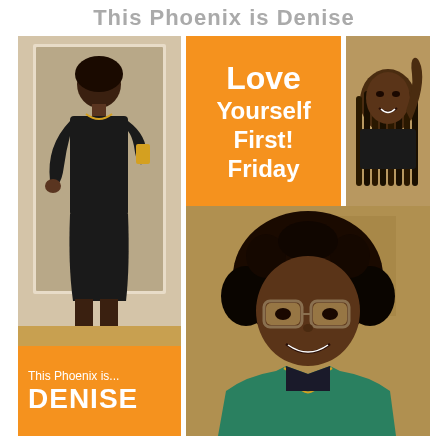This Phoenix is Denise
[Figure (photo): Collage of three photos of a woman named Denise, with an orange 'Love Yourself First! Friday' banner and an orange name plate reading 'This Phoenix is... DENISE']